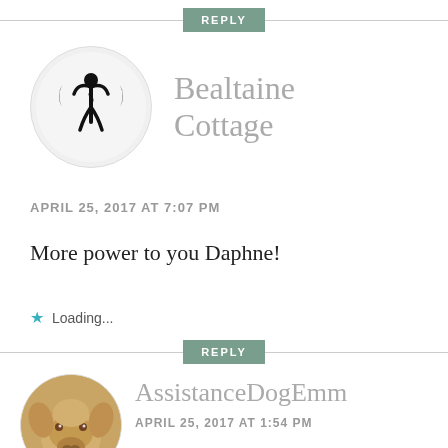[Figure (other): Reply button with horizontal divider line]
[Figure (illustration): Circular avatar with black triple moon goddess symbol on white background]
Bealtaine Cottage
APRIL 25, 2017 AT 7:07 PM
More power to you Daphne!
Loading...
[Figure (other): Reply button with horizontal divider line]
[Figure (photo): Circular avatar photo of a golden/yellow dog]
AssistanceDogEmm
APRIL 25, 2017 AT 1:54 PM